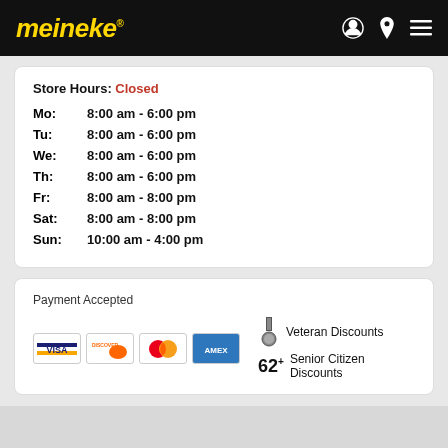meineke
Store Hours: Closed
| Day | Hours |
| --- | --- |
| Mo: | 8:00 am - 6:00 pm |
| Tu: | 8:00 am - 6:00 pm |
| We: | 8:00 am - 6:00 pm |
| Th: | 8:00 am - 6:00 pm |
| Fr: | 8:00 am - 8:00 pm |
| Sat: | 8:00 am - 8:00 pm |
| Sun: | 10:00 am - 4:00 pm |
Payment Accepted
Veteran Discounts  Senior Citizen Discounts